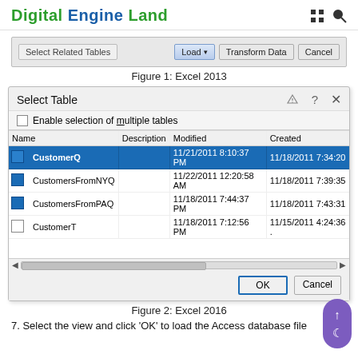Digital Engine Land
[Figure (screenshot): Excel 2013 toolbar showing Select Related Tables, Load (dropdown), Transform Data, and Cancel buttons]
Figure 1: Excel 2013
[Figure (screenshot): Select Table dialog box in Excel 2016 showing a list of tables: CustomerQ, CustomersFromNYQ, CustomersFromPAQ, CustomerT with Name, Description, Modified, Created columns and OK/Cancel buttons]
Figure 2: Excel 2016
7. Select the view and click 'OK' to load the Access database file